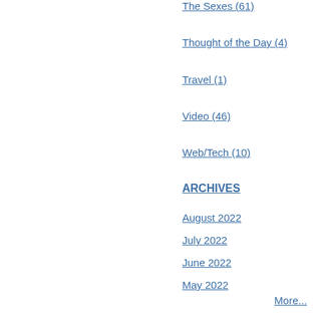It
or
"Ju
Do
It"
tha
are
lost
by
the
tedi
exp
on
side
effe
rem
at
the
The Sexes (61)
Thought of the Day (4)
Travel (1)
Video (46)
Web/Tech (10)
ARCHIVES
August 2022
July 2022
June 2022
May 2022
April 2022
March 2022
February 2022
January 2022
December 2021
November 2021
More...